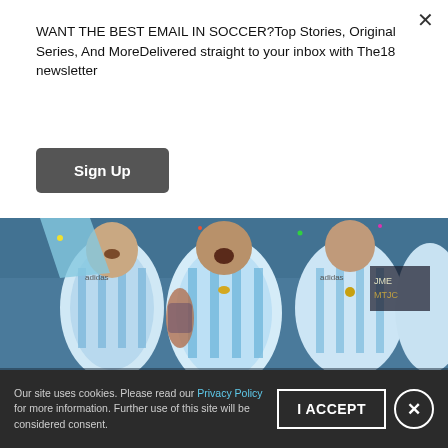WANT THE BEST EMAIL IN SOCCER?Top Stories, Original Series, And MoreDelivered straight to your inbox with The18 newsletter
Sign Up
[Figure (photo): Argentina national soccer team players in light blue and white striped jerseys celebrating, with one player in the center with mouth open in celebration]
The Fine Folks Of Harrison, NJ, Will Be Among The Last To See Messi Play For Argentina
Our site uses cookies. Please read our Privacy Policy for more information. Further use of this site will be considered consent.
I ACCEPT